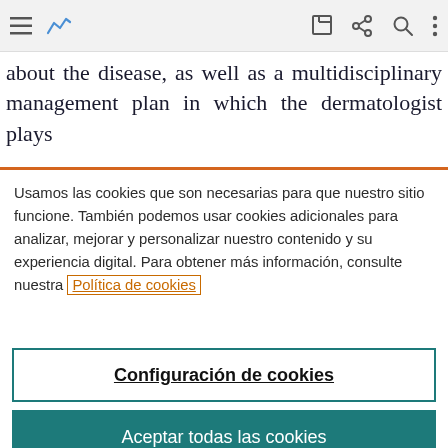Toolbar with hamburger menu, analytics icon, edit, share, search, and more options
about the disease, as well as a multidisciplinary management plan in which the dermatologist plays
Usamos las cookies que son necesarias para que nuestro sitio funcione. También podemos usar cookies adicionales para analizar, mejorar y personalizar nuestro contenido y su experiencia digital. Para obtener más información, consulte nuestra Política de cookies
Configuración de cookies
Aceptar todas las cookies